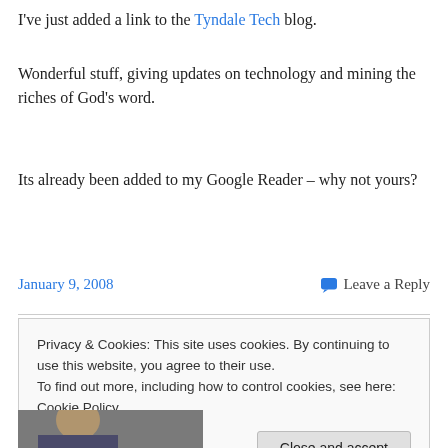I've just added a link to the Tyndale Tech blog.
Wonderful stuff, giving updates on technology and mining the riches of God's word.
Its already been added to my Google Reader – why not yours?
January 9, 2008   Leave a Reply
Privacy & Cookies: This site uses cookies. By continuing to use this website, you agree to their use.
To find out more, including how to control cookies, see here: Cookie Policy
Close and accept
[Figure (photo): Partial photo of a person at the bottom of the page]